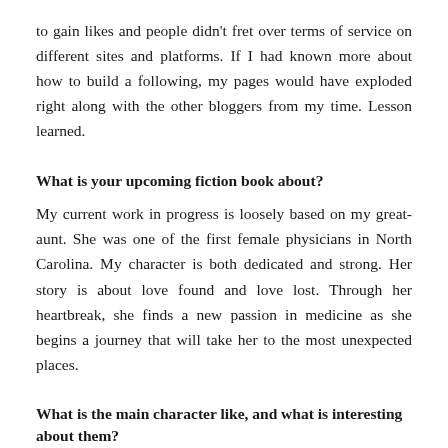to gain likes and people didn't fret over terms of service on different sites and platforms. If I had known more about how to build a following, my pages would have exploded right along with the other bloggers from my time. Lesson learned.
What is your upcoming fiction book about?
My current work in progress is loosely based on my great-aunt. She was one of the first female physicians in North Carolina. My character is both dedicated and strong. Her story is about love found and love lost. Through her heartbreak, she finds a new passion in medicine as she begins a journey that will take her to the most unexpected places.
What is the main character like, and what is interesting about them?
She is strong willed. As a child, she was told she had to act a certain way. She was told she couldn't do things because she was